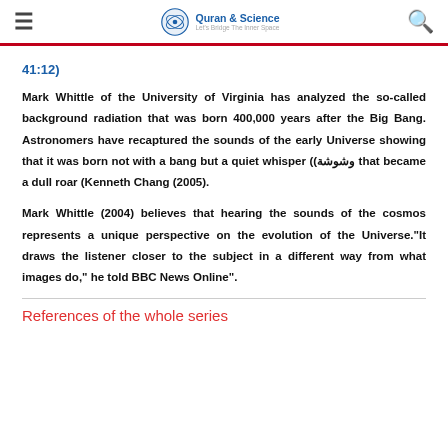≡  Quran & Science  🔍
41:12)
Mark Whittle of the University of Virginia has analyzed the so-called background radiation that was born 400,000 years after the Big Bang. Astronomers have recaptured the sounds of the early Universe showing that it was born not with a bang but a quiet whisper ((وشوشة that became a dull roar (Kenneth Chang (2005).
Mark Whittle (2004) believes that hearing the sounds of the cosmos represents a unique perspective on the evolution of the Universe."It draws the listener closer to the subject in a different way from what images do," he told BBC News Online".
References of the whole series